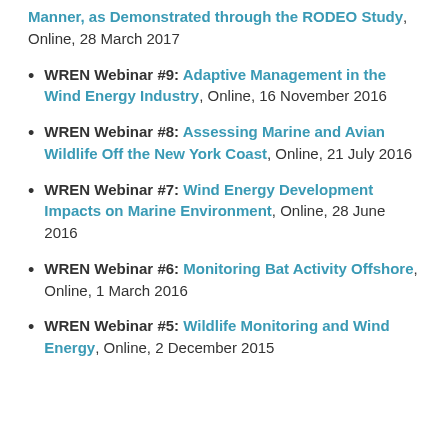WREN Webinar #9: Adaptive Management in the Wind Energy Industry, Online, 16 November 2016
WREN Webinar #8: Assessing Marine and Avian Wildlife Off the New York Coast, Online, 21 July 2016
WREN Webinar #7: Wind Energy Development Impacts on Marine Environment, Online, 28 June 2016
WREN Webinar #6: Monitoring Bat Activity Offshore, Online, 1 March 2016
WREN Webinar #5: Wildlife Monitoring and Wind Energy, Online, 2 December 2015